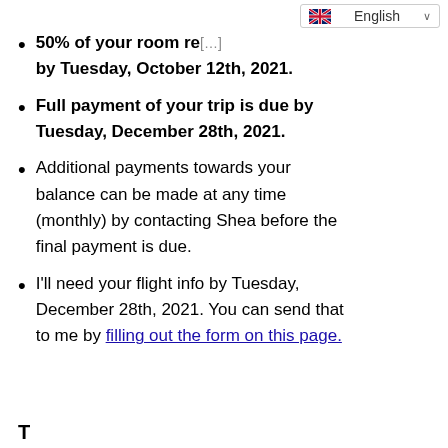[Figure (other): English language selector dropdown with UK flag]
50% of your room re... by Tuesday, October 12th, 2021.
Full payment of your trip is due by Tuesday, December 28th, 2021.
Additional payments towards your balance can be made at any time (monthly) by contacting Shea before the final payment is due.
I'll need your flight info by Tuesday, December 28th, 2021. You can send that to me by filling out the form on this page.
T...